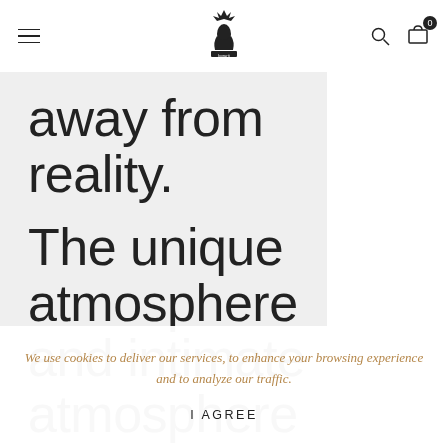Borarti navigation bar with hamburger menu, logo, search and cart (0)
away from reality.
The unique atmosphere and intimate atmosphere of the Borarti Experience Space further enhances the
We use cookies to deliver our services, to enhance your browsing experience and to analyze our traffic.
I AGREE